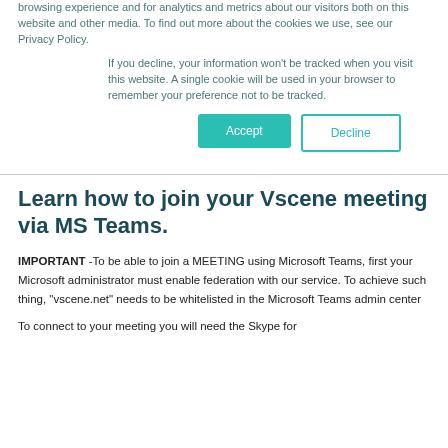browsing experience and for analytics and metrics about our visitors both on this website and other media. To find out more about the cookies we use, see our Privacy Policy.
If you decline, your information won't be tracked when you visit this website. A single cookie will be used in your browser to remember your preference not to be tracked.
Accept
Decline
Learn how to join your Vscene meeting via MS Teams.
IMPORTANT -To be able to join a MEETING using Microsoft Teams, first your Microsoft administrator must enable federation with our service. To achieve such thing, "vscene.net" needs to be whitelisted in the Microsoft Teams admin center
To connect to your meeting you will need the Skype for